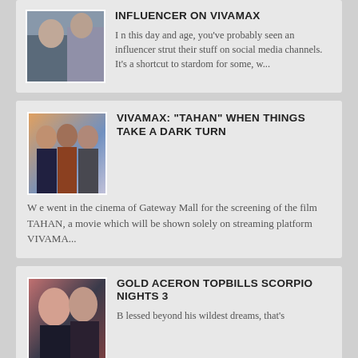[Figure (photo): Thumbnail photo of two people, partially cropped, for article about influencer on Vivamax]
INFLUENCER ON VIVAMAX
I n this day and age, you've probably seen an influencer strut their stuff on social media channels. It's a shortcut to stardom for some, w...
[Figure (photo): Thumbnail photo of three people at a press event for the film TAHAN]
VIVAMAX: "TAHAN" WHEN THINGS TAKE A DARK TURN
W e went in the cinema of Gateway Mall for the screening of the film TAHAN, a movie which will be shown solely on streaming platform VIVAMA...
[Figure (photo): Thumbnail photo of a man and woman for Scorpio Nights 3 article]
GOLD ACERON TOPBILLS SCORPIO NIGHTS 3
B lessed beyond his wildest dreams, that's